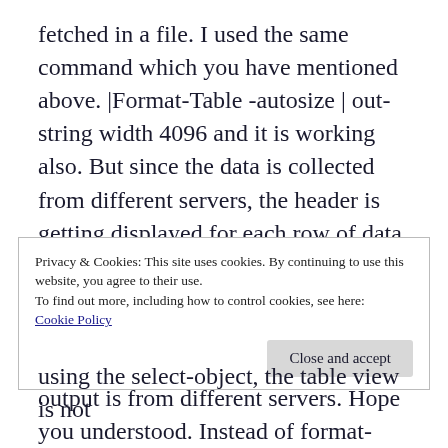fetched in a file. I used the same command which you have mentioned above. |Format-Table -autosize | out-string width 4096 and it is working also. But since the data is collected from different servers, the header is getting displayed for each row of data. In the example, which you have mentioned, the output is that of a single command and that you're trying to fit inside a table. In my case, the output is from different servers. Hope you understood. Instead of format-table, if i use select-object, the header
Privacy & Cookies: This site uses cookies. By continuing to use this website, you agree to their use.
To find out more, including how to control cookies, see here:
Cookie Policy
Close and accept
using the select-object, the table view is not